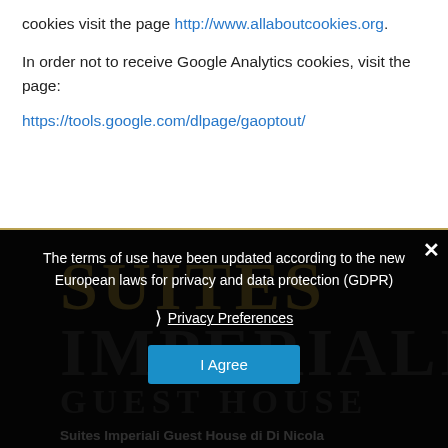cookies visit the page http://www.allaboutcookies.org.
In order not to receive Google Analytics cookies, visit the page:
https://tools.google.com/dlpage/gaoptout/
[Figure (screenshot): Hotel branding section showing 'SUITES IMPERIALI GUEST HOUSE' logo text in gold and gray on dark background]
The terms of use have been updated according to the new European laws for privacy and data protection (GDPR)
Privacy Preferences
I Agree
Suites Imperiali Guest House di Di Nicola Federica